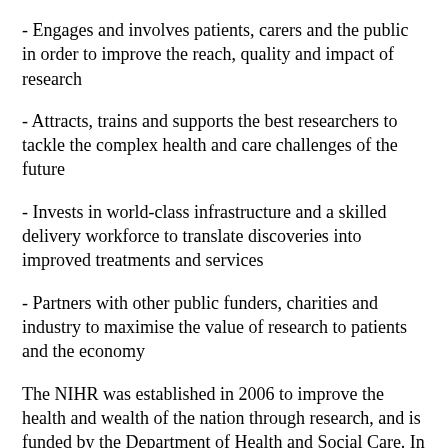- Engages and involves patients, carers and the public in order to improve the reach, quality and impact of research
- Attracts, trains and supports the best researchers to tackle the complex health and care challenges of the future
- Invests in world-class infrastructure and a skilled delivery workforce to translate discoveries into improved treatments and services
- Partners with other public funders, charities and industry to maximise the value of research to patients and the economy
The NIHR was established in 2006 to improve the health and wealth of the nation through research, and is funded by the Department of Health and Social Care. In addition to its national role, the NIHR supports applied health research for the direct and primary benefit of people in low- and middle-